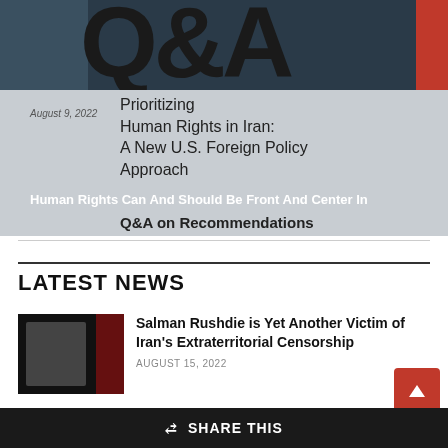[Figure (photo): Hero image showing a Q&A article cover: a dark top band with large 'Q&A' lettering overlaid on a person's silhouette, and below a gray area showing book cover text 'Prioritizing Human Rights in Iran: A New U.S. Foreign Policy Approach' dated August 9, 2022, with overlay text 'Human Rights Can And Should Be Front And Center In Q&A on Recommendations']
LATEST NEWS
[Figure (photo): Dark thumbnail photo of a person (likely Salman Rushdie) with red tones on the right side]
Salman Rushdie is Yet Another Victim of Iran's Extraterritorial Censorship
AUGUST 15, 2022
SHARE THIS